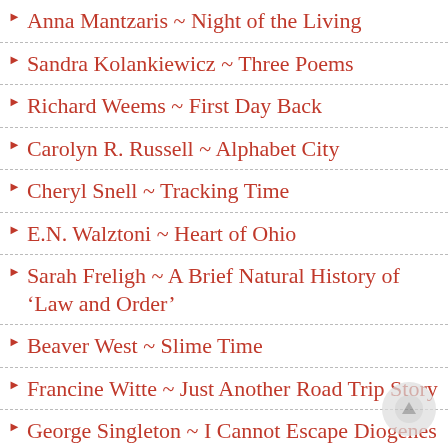Anna Mantzaris ~ Night of the Living
Sandra Kolankiewicz ~ Three Poems
Richard Weems ~ First Day Back
Carolyn R. Russell ~ Alphabet City
Cheryl Snell ~ Tracking Time
E.N. Walztoni ~ Heart of Ohio
Sarah Freligh ~ A Brief Natural History of ‘Law and Order’
Beaver West ~ Slime Time
Francine Witte ~ Just Another Road Trip Story
George Singleton ~ I Cannot Escape Diogenes
James Kangas ~ Five Poems
Meg Pokrass ~ Three Flash Fictions